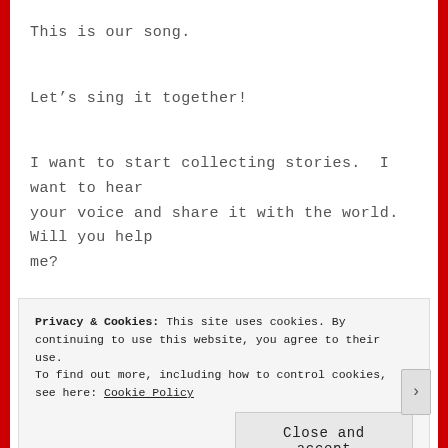This is our song.
Let's sing it together!
I want to start collecting stories.  I want to hear your voice and share it with the world.  Will you help me?
[Figure (photo): Image with large bold blue text reading 'TEACHERS.' on a blurred sky/cloud background]
Privacy & Cookies: This site uses cookies. By continuing to use this website, you agree to their use.
To find out more, including how to control cookies, see here: Cookie Policy
Close and accept